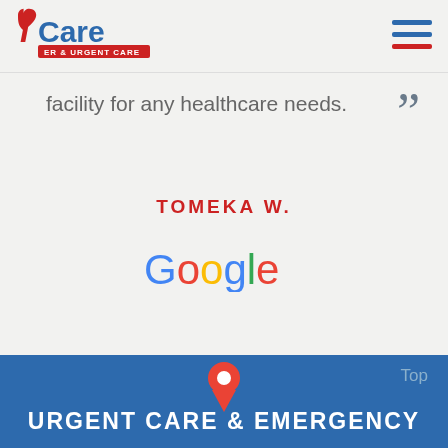[Figure (logo): iCare ER & Urgent Care logo with red stylized i and blue Care text, red badge reading ER & URGENT CARE]
[Figure (other): Hamburger menu icon with three horizontal lines, bottom line in red]
facility for any healthcare needs.
TOMEKA W.
[Figure (logo): Google logo in multicolor letters]
[Figure (other): Red map pin / location marker icon]
Top
URGENT CARE & EMERGENCY